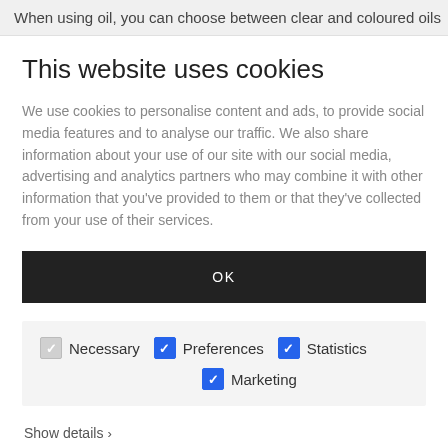When using oil, you can choose between clear and coloured oils
This website uses cookies
We use cookies to personalise content and ads, to provide social media features and to analyse our traffic. We also share information about your use of our site with our social media, advertising and analytics partners who may combine it with other information that you've provided to them or that they've collected from your use of their services.
OK
Necessary  Preferences  Statistics  Marketing
Show details >